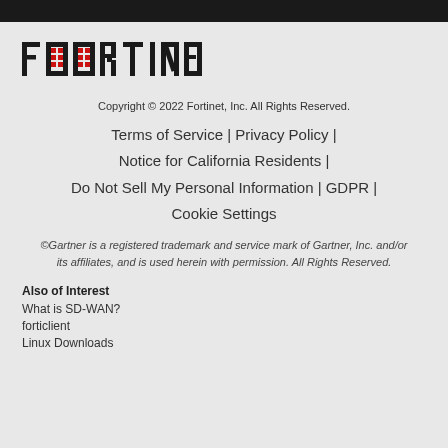[Figure (logo): Fortinet logo with red dot grid pattern replacing the 'O' letters]
Copyright © 2022 Fortinet, Inc. All Rights Reserved.
Terms of Service | Privacy Policy | Notice for California Residents | Do Not Sell My Personal Information | GDPR | Cookie Settings
©Gartner is a registered trademark and service mark of Gartner, Inc. and/or its affiliates, and is used herein with permission. All Rights Reserved.
Also of Interest
What is SD-WAN?
forticlient
Linux Downloads